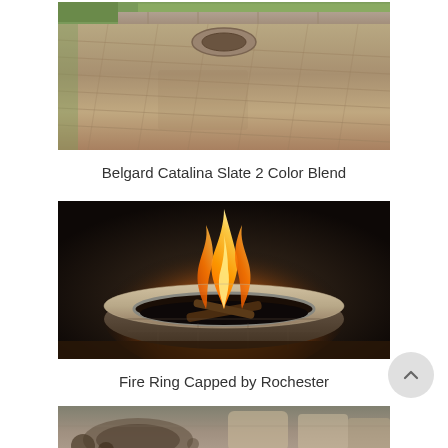[Figure (photo): Overhead view of a stone paver patio with a circular fire pit area in the background, surrounded by greenery and a wall.]
Belgard Catalina Slate 2 Color Blend
[Figure (photo): Close-up of a round stone fire ring with a large fire burning inside, flames visible against a dark background.]
Fire Ring Capped by Rochester
[Figure (photo): Partial view of an outdoor stone fire pit area with firewood and decorative stones.]